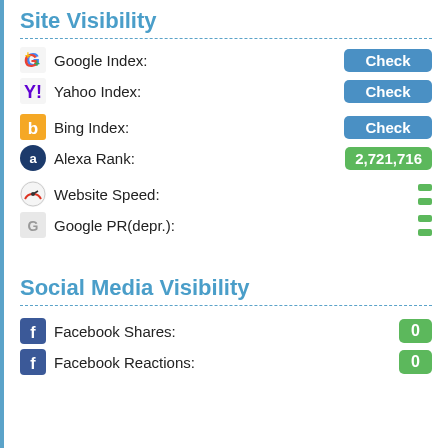Site Visibility
Google Index: Check
Yahoo Index: Check
Bing Index: Check
Alexa Rank: 2,721,716
Website Speed: -
Google PR(depr.): -
Social Media Visibility
Facebook Shares: 0
Facebook Reactions: 0